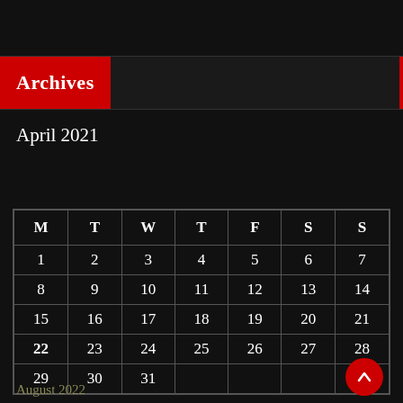Archives
April 2021
| M | T | W | T | F | S | S |
| --- | --- | --- | --- | --- | --- | --- |
| 1 | 2 | 3 | 4 | 5 | 6 | 7 |
| 8 | 9 | 10 | 11 | 12 | 13 | 14 |
| 15 | 16 | 17 | 18 | 19 | 20 | 21 |
| 22 | 23 | 24 | 25 | 26 | 27 | 28 |
| 29 | 30 | 31 |  |  |  |  |
August 2022